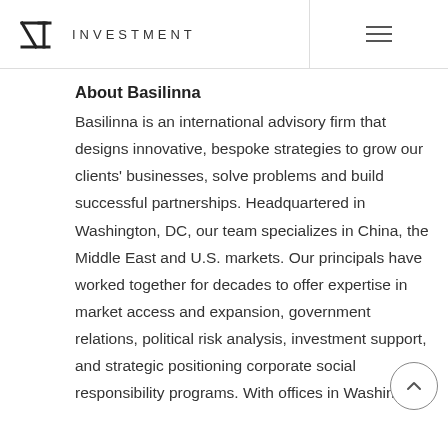INVESTMENT
About Basilinna
Basilinna is an international advisory firm that designs innovative, bespoke strategies to grow our clients' businesses, solve problems and build successful partnerships. Headquartered in Washington, DC, our team specializes in China, the Middle East and U.S. markets. Our principals have worked together for decades to offer expertise in market access and expansion, government relations, political risk analysis, investment support, and strategic positioning corporate social responsibility programs. With offices in Washington